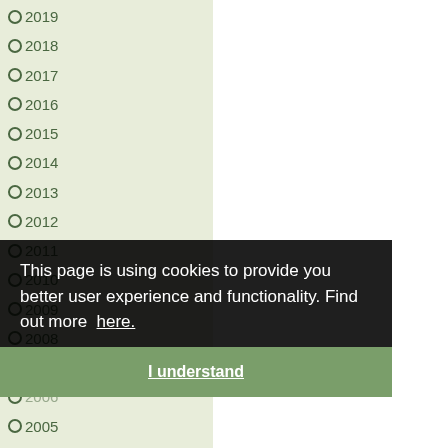2019
2018
2017
2016
2015
2014
2013
2012
2011
2010
2009
2008
2007
2006
2005
2004
2003
2002
2001
Animals Raised for Food
Animal Experimentation
Fashion Victims
This page is using cookies to provide you better user experience and functionality. Find out more here.